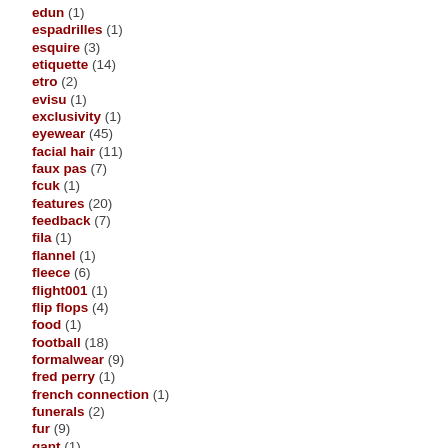edun (1)
espadrilles (1)
esquire (3)
etiquette (14)
etro (2)
evisu (1)
exclusivity (1)
eyewear (45)
facial hair (11)
faux pas (7)
fcuk (1)
features (20)
feedback (7)
fila (1)
flannel (1)
fleece (6)
flight001 (1)
flip flops (4)
food (1)
football (18)
formalwear (9)
fred perry (1)
french connection (1)
funerals (2)
fur (9)
gant (1)